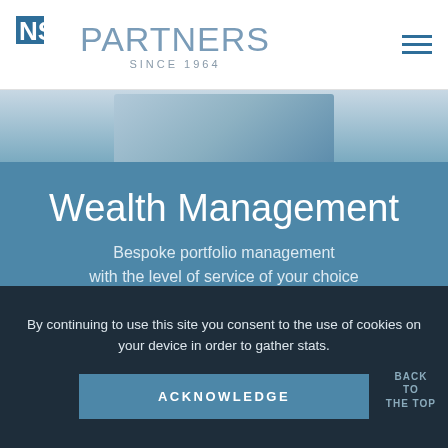NS PARTNERS SINCE 1964
[Figure (photo): Partial hero image showing a person in business attire, partially cropped, on a blue-toned background.]
Wealth Management
Bespoke portfolio management with the level of service of your choice
LEARN MORE
By continuing to use this site you consent to the use of cookies on your device in order to gather stats.
ACKNOWLEDGE
BACK TO THE TOP